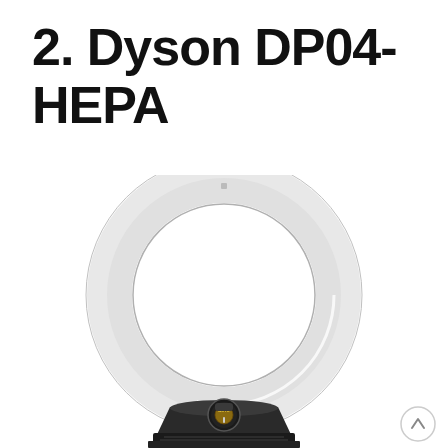2. Dyson DP04-HEPA
[Figure (photo): Dyson DP04-HEPA bladeless fan/air purifier, front view showing circular loop amplifier in white/silver with black base unit and AUTO control dial, photographed on white background]